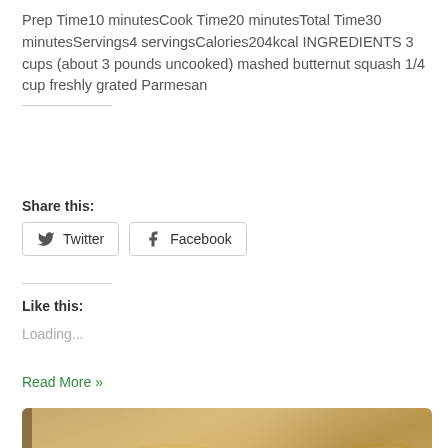Prep Time10 minutesCook Time20 minutesTotal Time30 minutesServings4 servingsCalories204kcal INGREDIENTS 3 cups (about 3 pounds uncooked) mashed butternut squash 1/4 cup freshly grated Parmesan
Share this:
Twitter  Facebook
Like this:
Loading...
Read More »
[Figure (photo): Close-up photo of a baked butternut squash casserole or frittata in a dark pan, showing golden-brown surface with swirled patterns.]